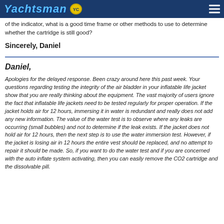Yachtsman
of the indicator, what is a good time frame or other methods to use to determine whether the cartridge is still good?
Sincerely, Daniel
Daniel,
Apologies for the delayed response. Been crazy around here this past week. Your questions regarding testing the integrity of the air bladder in your inflatable life jacket show that you are really thinking about the equipment. The vast majority of users ignore the fact that inflatable life jackets need to be tested regularly for proper operation. If the jacket holds air for 12 hours, immersing it in water is redundant and really does not add any new information. The value of the water test is to observe where any leaks are occurring (small bubbles) and not to determine if the leak exists. If the jacket does not hold air for 12 hours, then the next step is to use the water immersion test. However, if the jacket is losing air in 12 hours the entire vest should be replaced, and no attempt to repair it should be made. So, if you want to do the water test and if you are concerned with the auto inflate system activating, then you can easily remove the CO2 cartridge and the dissolvable pill.